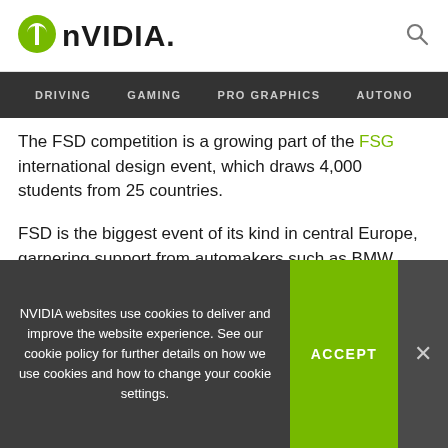NVIDIA
DRIVING  GAMING  PRO GRAPHICS  AUTONO
The FSD competition is a growing part of the FSG international design event, which draws 4,000 students from 25 countries.
FSD is the biggest event of its kind in central Europe, garnering support from automakers such as BMW, Daimler and Volkswagen as well as suppliers such as Bosch, Continental and ZF.
NVIDIA websites use cookies to deliver and improve the website experience. See our cookie policy for further details on how we use cookies and how to change your cookie settings.